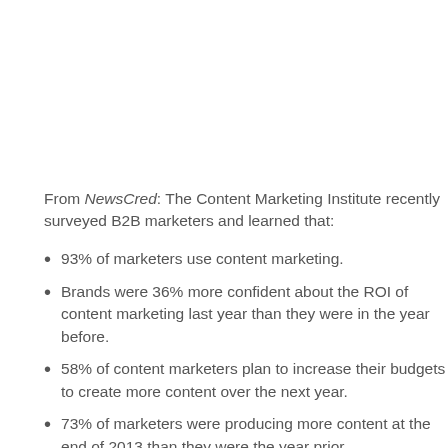From NewsCred: The Content Marketing Institute recently surveyed B2B marketers and learned that:
93% of marketers use content marketing.
Brands were 36% more confident about the ROI of content marketing last year than they were in the year before.
58% of content marketers plan to increase their budgets to create more content over the next year.
73% of marketers were producing more content at the end of 2013 than they were the year prior.